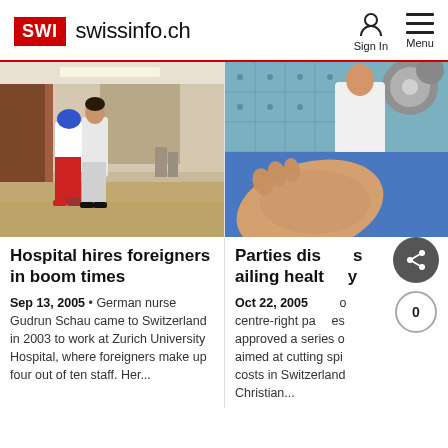SWI swissinfo.ch
[Figure (photo): Hospital corridor with two nurses walking, one wearing red pants and a blue helmet, the other in white scrubs]
Hospital hires foreigners in boom times
Sep 13, 2005 • German nurse Gudrun Schau came to Switzerland in 2003 to work at Zurich University Hospital, where foreigners make up four out of ten staff. Her...
[Figure (photo): Close-up of a patient's foot/hand with medical staff working in the background in an operating room]
Parties dis... ailing health...y
Oct 22, 2005 ... centre-right pa...es approved a series o... aimed at cutting spi... costs in Switzerland... Christian...